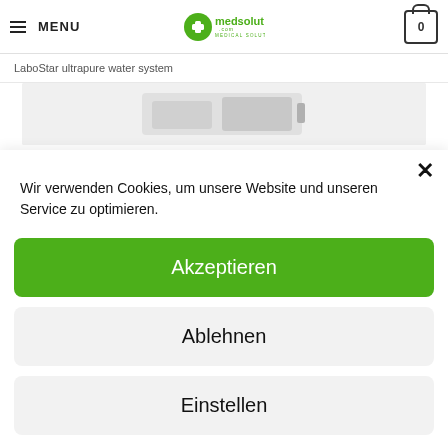MENU | medsolut.com MEDICAL SOLUTIONS | 0
LaboStar ultrapure water system
[Figure (photo): Product image area showing a LaboStar ultrapure water system device on a light gray background]
Wir verwenden Cookies, um unsere Website und unseren Service zu optimieren.
Akzeptieren
Ablehnen
Einstellen
Cookie Directive   Privacy policy   Imprint